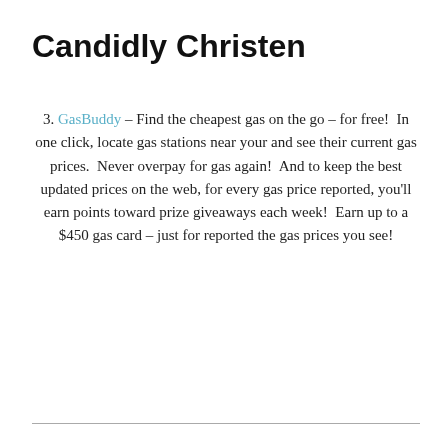Candidly Christen
GasBuddy – Find the cheapest gas on the go – for free!  In one click, locate gas stations near your and see their current gas prices.  Never overpay for gas again!  And to keep the best updated prices on the web, for every gas price reported, you'll earn points toward prize giveaways each week!  Earn up to a $450 gas card – just for reported the gas prices you see!